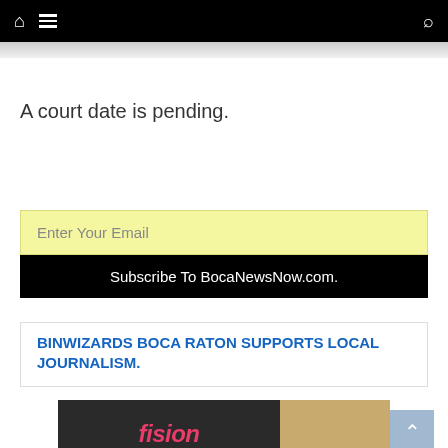Navigation bar with home, menu, and search icons
A court date is pending.
Enter Your Email
Subscribe To BocaNewsNow.com.
BINWIZARDS BOCA RATON SUPPORTS LOCAL JOURNALISM.
[Figure (photo): Fision Fiber Optics by Hotwire advertisement with aerial photo of Bocaire Country Club]